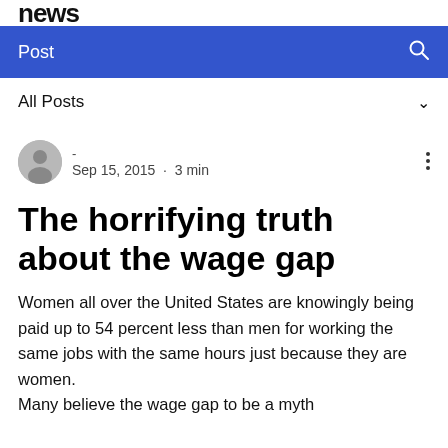news
Post
All Posts
- Sep 15, 2015 · 3 min
The horrifying truth about the wage gap
Women all over the United States are knowingly being paid up to 54 percent less than men for working the same jobs with the same hours just because they are women.
Many believe the wage gap to be a myth the...